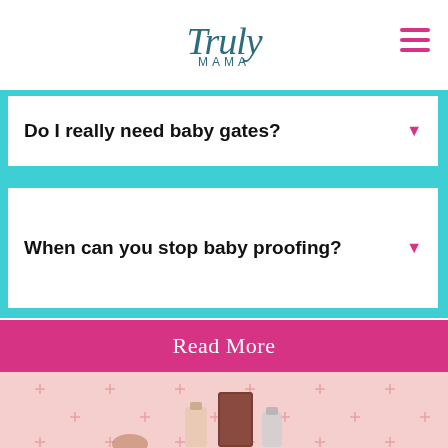Truly mama
Do I really need baby gates?
When can you stop baby proofing?
Read More
[Figure (photo): Pink background with repeating plus/cross pattern, with product bottles partially visible at the bottom of the section.]